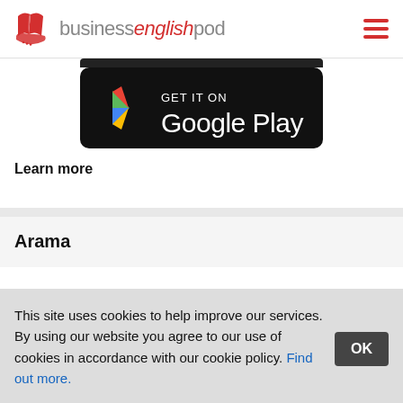businessenglishpod
[Figure (logo): Google Play Store badge: GET IT ON Google Play, black rounded rectangle with colorful Play triangle logo]
Learn more
Arama
This site uses cookies to help improve our services. By using our website you agree to our use of cookies in accordance with our cookie policy. Find out more.